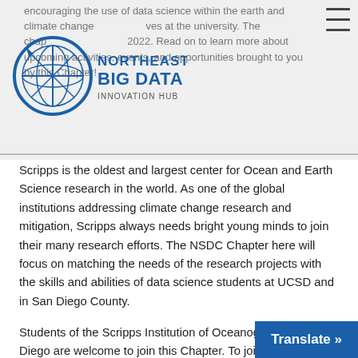encouraging the use of data science within the earth and climate change initiatives at the university. The chapter was founded in 2022. Read on to learn more about upcoming activities, events, and opportunities brought to you by this Chapter!
[Figure (logo): Northeast Big Data Innovation Hub logo — circular compass/globe emblem in blue with text NORTHEAST BIG DATA INNOVATION HUB]
Scripps is the oldest and largest center for Ocean and Earth Science research in the world. As one of the global institutions addressing climate change research and mitigation, Scripps always needs bright young minds to join their many research efforts. The NSDC Chapter here will focus on matching the needs of the research projects with the skills and abilities of data science students at UCSD and in San Diego County.
Students of the Scripps Institution of Oceanography, UC San Diego are welcome to join this Chapter. To join an NSDC Chapter at another Institution (university or college), or to join a Regional Chapter (M…